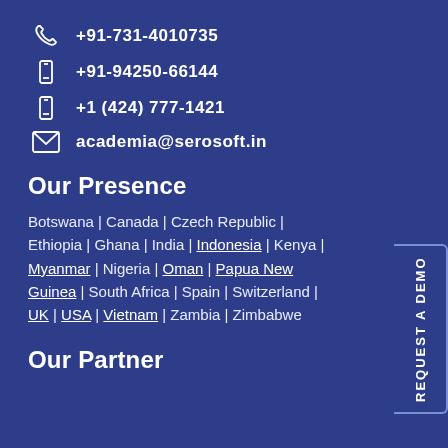+91-731-4010735
+91-94250-66144
+1 (424) 777-1421
academia@serosoft.in
Our Presence
Botswana | Canada | Czech Republic | Ethiopia | Ghana | India | Indonesia | Kenya | Myanmar | Nigeria | Oman | Papua New Guinea | South Africa | Spain | Switzerland | UK | USA | Vietnam | Zambia | Zimbabwe
Our Partner